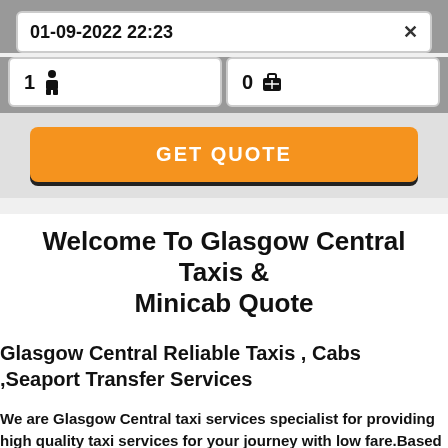01-09-2022 22:23
1 [person icon]
0 [luggage icon]
GET QUOTE
Welcome To Glasgow Central Taxis & Minicab Quote
Glasgow Central Reliable Taxis , Cabs ,Seaport Transfer Services
We are Glasgow Central taxi services specialist for providing high quality taxi services for your journey with low fare.Based in Glasgow Central taxis ready top pick you in Glasgow Central and nearest places